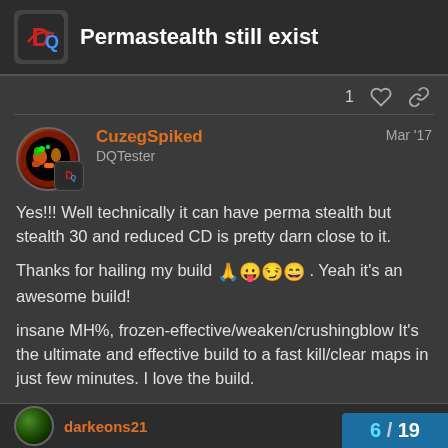Permastealth still exist
1 ♡ 🔗
CuzegSpiked
DQTester
Mar '17
Yes!!! Well technically it can have perma stealth but stealth 30 and reduced CD is pretty darn close to it.
Thanks for hailing my build 🙏😛😏😄. Yeah it's an awesome build!
insane MH%, frozen-effective/weaken/crushingblow It's the ultimate and effective build to a fast kill/clear maps in just few minutes. I love the build.
♡ 🔗
6 / 19
darkeons21